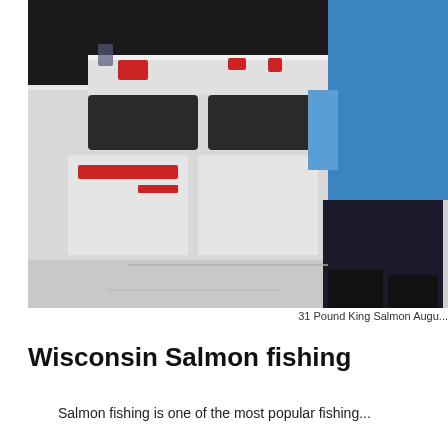[Figure (photo): A person in a blue shirt holding a large King Salmon fish on a boat. The boat interior is visible with white panels and dark seat cushions.]
31 Pound King Salmon Augu...
Wisconsin Salmon fishing
Salmon fishing is one of the most popular fishing...